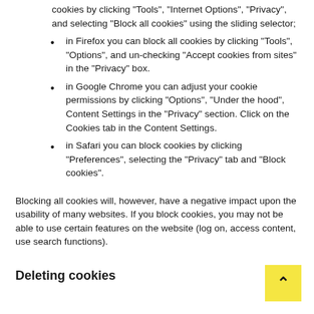cookies by clicking "Tools", "Internet Options", "Privacy", and selecting "Block all cookies" using the sliding selector;
in Firefox you can block all cookies by clicking "Tools", "Options", and un-checking "Accept cookies from sites" in the "Privacy" box.
in Google Chrome you can adjust your cookie permissions by clicking "Options", "Under the hood", Content Settings in the "Privacy" section. Click on the Cookies tab in the Content Settings.
in Safari you can block cookies by clicking "Preferences", selecting the "Privacy" tab and "Block cookies".
Blocking all cookies will, however, have a negative impact upon the usability of many websites. If you block cookies, you may not be able to use certain features on the website (log on, access content, use search functions).
Deleting cookies